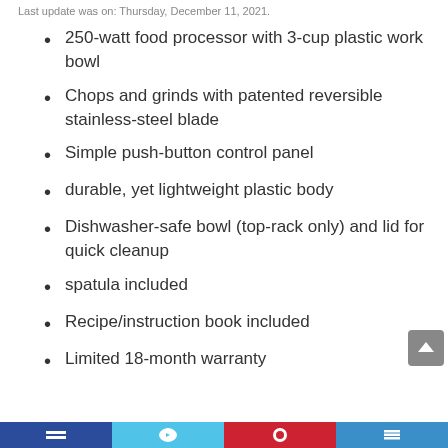Last update was on: Thursday, December 11, 2021
250-watt food processor with 3-cup plastic work bowl
Chops and grinds with patented reversible stainless-steel blade
Simple push-button control panel
durable, yet lightweight plastic body
Dishwasher-safe bowl (top-rack only) and lid for quick cleanup
spatula included
Recipe/instruction book included
Limited 18-month warranty